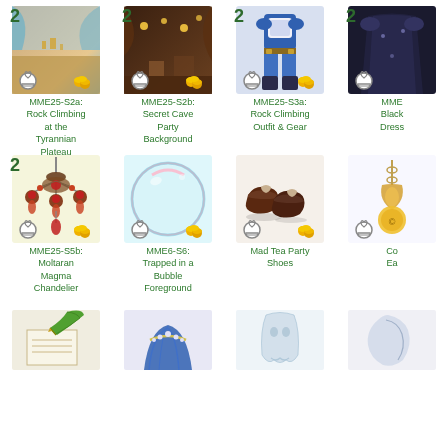[Figure (illustration): MME25-S2a: Rock Climbing at the Tyrannian Plateau - item card with number 2 badge, hanger icon, coins icon]
MME25-S2a:
Rock Climbing
at the
Tyrannian
Plateau
[Figure (illustration): MME25-S2b: Secret Cave Party Background - item card with number 2 badge, hanger icon, coins icon]
MME25-S2b:
Secret Cave
Party
Background
[Figure (illustration): MME25-S3a: Rock Climbing Outfit & Gear - item card with number 2 badge, hanger icon, coins icon]
MME25-S3a:
Rock Climbing
Outfit & Gear
[Figure (illustration): MME item (partially visible) - Black Dress - item card with number 2 badge]
MME
Black
Dress
[Figure (illustration): MME25-S5b: Moltaran Magma Chandelier - item card with number 2 badge, hanger icon, coins icon]
MME25-S5b:
Moltaran
Magma
Chandelier
[Figure (illustration): MME6-S6: Trapped in a Bubble Foreground - item card with hanger icon, coins icon]
MME6-S6:
Trapped in a
Bubble
Foreground
[Figure (illustration): Mad Tea Party Shoes - item card with hanger icon, coins icon]
Mad Tea Party
Shoes
[Figure (illustration): Partially visible item - Co Ea - earring or accessory item]
Co
Ea
[Figure (illustration): Bottom row item 1 - book with green feather quill]
[Figure (illustration): Bottom row item 2 - blue hair/headband]
[Figure (illustration): Bottom row item 3 - ghost/white figure]
[Figure (illustration): Bottom row item 4 - partially visible item]